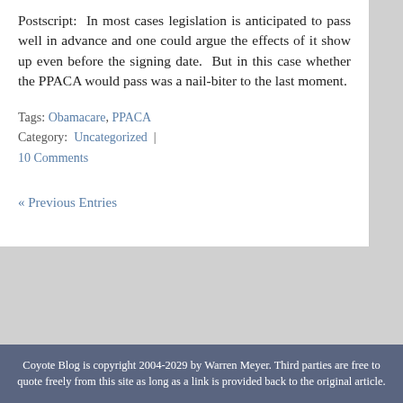Postscript:  In most cases legislation is anticipated to pass well in advance and one could argue the effects of it show up even before the signing date.  But in this case whether the PPACA would pass was a nail-biter to the last moment.
Tags: Obamacare, PPACA  Category: Uncategorized | 10 Comments
« Previous Entries
Coyote Blog is copyright 2004-2029 by Warren Meyer. Third parties are free to quote freely from this site as long as a link is provided back to the original article.